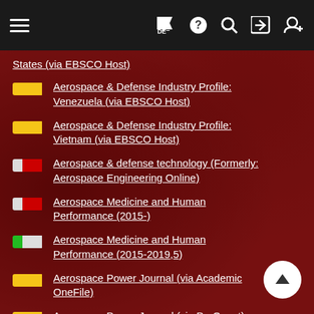Navigation bar with hamburger menu, flag/DE, help, search, login, register icons
States (via EBSCO Host)
Aerospace & Defense Industry Profile: Venezuela (via EBSCO Host)
Aerospace & Defense Industry Profile: Vietnam (via EBSCO Host)
Aerospace & defense technology (Formerly: Aerospace Engineering Online)
Aerospace Medicine and Human Performance (2015-)
Aerospace Medicine and Human Performance (2015-2019,5)
Aerospace Power Journal (via Academic OneFile)
Aerospace Power Journal (via ProQuest)